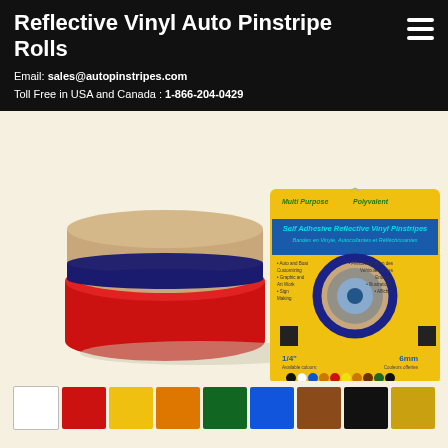Reflective Vinyl Auto Pinstripe Rolls
Email: sales@autopinstripes.com
Toll Free in USA and Canada : 1-866-204-0429
[Figure (photo): Product image of reflective vinyl auto pinstripe rolls — showing vinyl rolls in navy blue and red colors plus a retail package with yellow card showing 'Self Adhesive Reflective Vinyl Pinstripes', labeled 1/4" 6mm, with color swatches on package]
[Figure (illustration): Color swatches showing available colors: white, red, yellow, orange, green, blue, brown, black, gold/yellow]